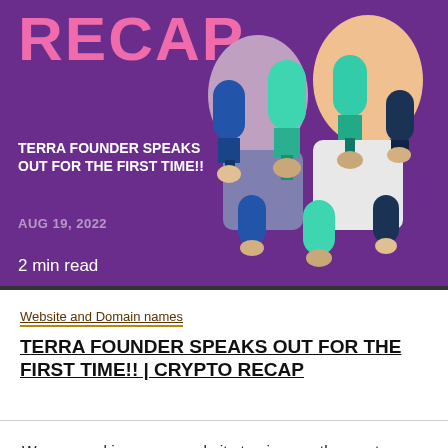[Figure (photo): Thumbnail image with purple background showing 'RECAP' in large pink letters, two men being interviewed, multiple microphones in teal/green and dark blue colors, text 'TERRA FOUNDER SPEAKS OUT FOR THE FIRST TIME!!' and date 'AUG 19, 2022', with '2 min read' overlay at bottom.]
Website and Domain names
TERRA FOUNDER SPEAKS OUT FOR THE FIRST TIME!! | CRYPTO RECAP
We use cookies on our website to give you the most relevant experience by remembering your preferences and repeat visits. By clicking "Accept All", you consent to the use of ALL the cookies. However, you may visit "Cookie Settings" to provide a controlled consent.
Cookie Settings
Accept All